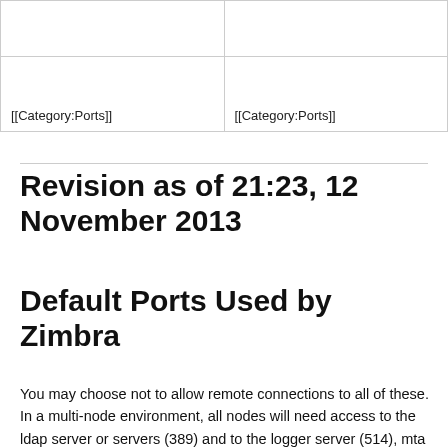|  |  |
| [[Category:Ports]] | [[Category:Ports]] |
Revision as of 21:23, 12 November 2013
Default Ports Used by Zimbra
You may choose not to allow remote connections to all of these. In a multi-node environment, all nodes will need access to the ldap server or servers (389) and to the logger server (514), mta nodes will need access to lmtp on all mailbox nodes (7025), mailbox nodes will need admin port access to other mailbox nodes (7071).